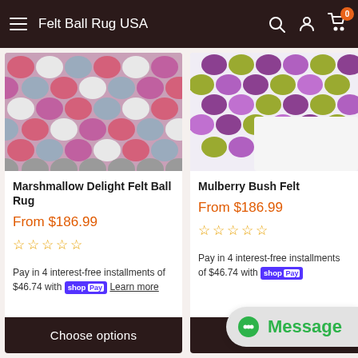Felt Ball Rug USA
[Figure (photo): Close-up of Marshmallow Delight Felt Ball Rug with pink, grey and white felt balls]
Marshmallow Delight Felt Ball Rug
From $186.99
☆☆☆☆☆
Pay in 4 interest-free installments of $46.74 with Shop Pay Learn more
Choose options
[Figure (photo): Close-up of Mulberry Bush Felt Ball Rug with purple and green felt balls on white background]
Mulberry Bush Felt
From $186.99
☆☆☆☆☆
Pay in 4 interest-free installments of $46.74 with Shop Pay
Choose o
Message